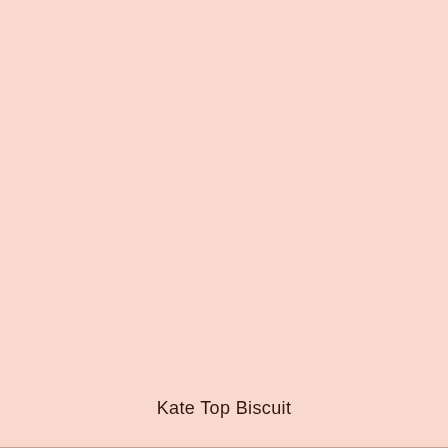[Figure (other): Solid light pink/biscuit color swatch filling the upper portion of the page]
Kate Top Biscuit